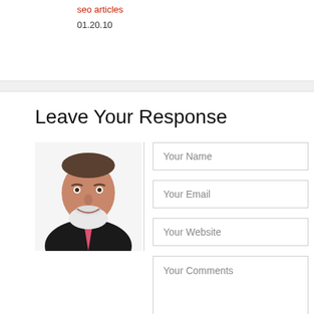seo articles
01.20.10
Leave Your Response
[Figure (photo): Headshot of a middle-aged man with white beard wearing a dark suit and pink tie]
Your Name
Your Email
Your Website
Your Comments